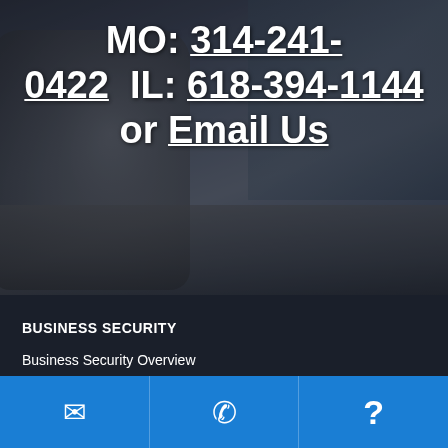[Figure (photo): Dark photograph background showing close-up of a heavy metal lock or security device on a street/urban setting, with city buildings visible in the upper right. Dark overlay applied.]
MO: 314-241-0422  IL: 618-394-1144 or Email Us
BUSINESS SECURITY
Business Security Overview
Access Control